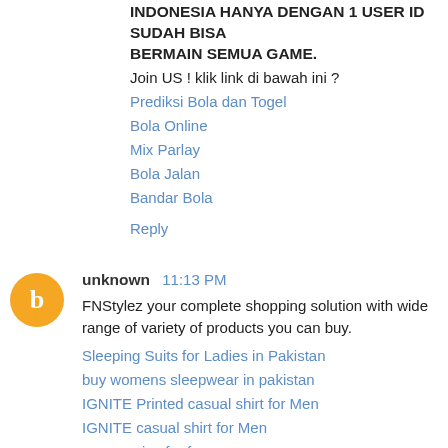INDONESIA HANYA DENGAN 1 USER ID SUDAH BISA BERMAIN SEMUA GAME.
Join US ! klik link di bawah ini ?
Prediksi Bola dan Togel
Bola Online
Mix Parlay
Bola Jalan
Bandar Bola
Reply
unknown 11:13 PM
FNStylez your complete shopping solution with wide range of variety of products you can buy.
Sleeping Suits for Ladies in Pakistan
buy womens sleepwear in pakistan
IGNITE Printed casual shirt for Men
IGNITE casual shirt for Men
accessories for fragrances
mens fashion keychains
bata shoes online
sanas clothing for girls